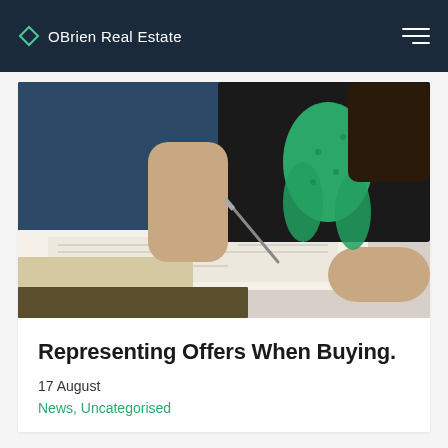OBrien Real Estate
[Figure (photo): A person wearing a black top with a green bow/scarf signing or writing on documents/forms spread on a white table. The background is dark blue.]
Representing Offers When Buying.
17 August
News, Uncategorised